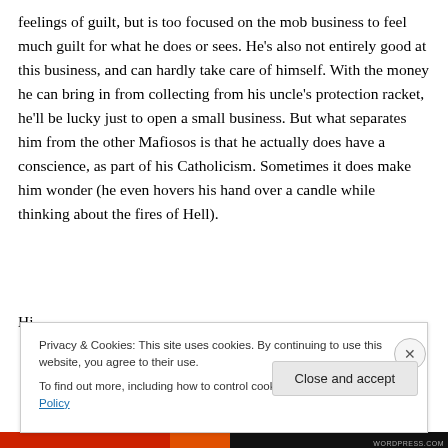feelings of guilt, but is too focused on the mob business to feel much guilt for what he does or sees. He's also not entirely good at this business, and can hardly take care of himself. With the money he can bring in from collecting from his uncle's protection racket, he'll be lucky just to open a small business. But what separates him from the other Mafiosos is that he actually does have a conscience, as part of his Catholicism. Sometimes it does make him wonder (he even hovers his hand over a candle while thinking about the fires of Hell).
[Figure (screenshot): Cookie consent banner overlay with text: 'Privacy & Cookies: This site uses cookies. By continuing to use this website, you agree to their use. To find out more, including how to control cookies, see here: Cookie Policy' and a 'Close and accept' button. An X close button is also visible on the right side.]
Bottom navigation/progress bar